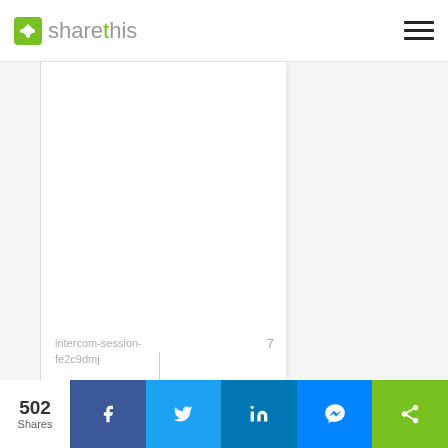sharethis
[Figure (screenshot): Page content area with three columns: narrow left sidebar, wide white center column, right sidebar. Center column shows 'intercom-session-fe2c9dmj' text with number 7.]
intercom-session-fe2c9dmj
7
502 Shares — Facebook, Twitter, LinkedIn, Messenger, ShareThis share buttons